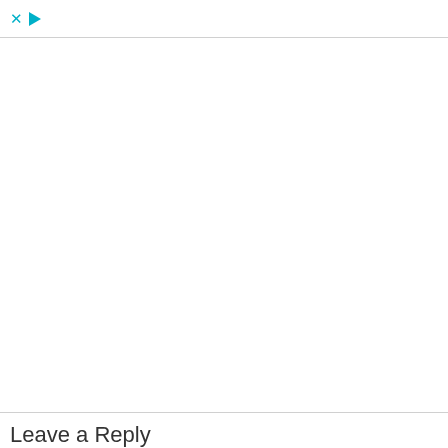[Figure (screenshot): Web browser UI element showing a top ad bar with a cyan/teal X close icon and a cyan/teal play (triangle) icon, followed by a collapse/minimize button with an upward chevron arrow below the bar. The main content area is blank/white, representing an advertisement placeholder.]
Leave a Reply